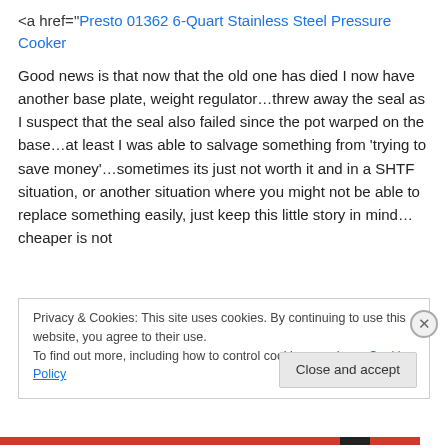<a href="Presto 01362 6-Quart Stainless Steel Pressure Cooker
Good news is that now that the old one has died I now have another base plate, weight regulator…threw away the seal as I suspect that the seal also failed since the pot warped on the base…at least I was able to salvage something from 'trying to save money'…sometimes its just not worth it and in a SHTF situation, or another situation where you might not be able to replace something easily, just keep this little story in mind… cheaper is not
Privacy & Cookies: This site uses cookies. By continuing to use this website, you agree to their use.
To find out more, including how to control cookies, see here: Cookie Policy